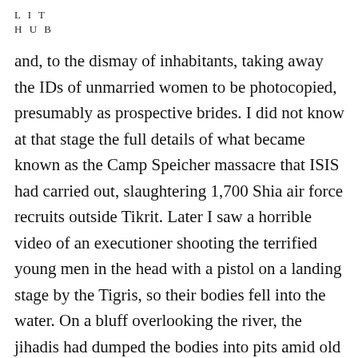L I T
H U B
and, to the dismay of inhabitants, taking away the IDs of unmarried women to be photocopied, presumably as prospective brides. I did not know at that stage the full details of what became known as the Camp Speicher massacre that ISIS had carried out, slaughtering 1,700 Shia air force recruits outside Tikrit. Later I saw a horrible video of an executioner shooting the terrified young men in the head with a pistol on a landing stage by the Tigris, so their bodies fell into the water. On a bluff overlooking the river, the jihadis had dumped the bodies into pits amid old half-ruined palaces